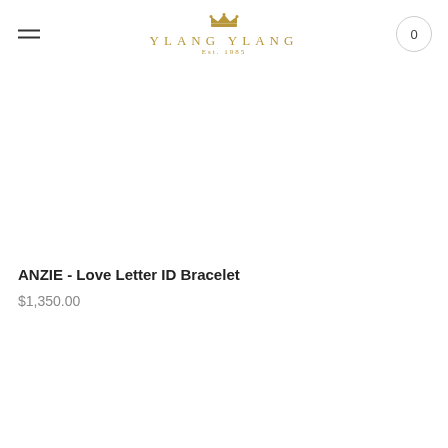YLANG YLANG Est. 1985
[Figure (photo): White/blank product image area for ANZIE Love Letter ID Bracelet]
ANZIE - Love Letter ID Bracelet
$1,350.00